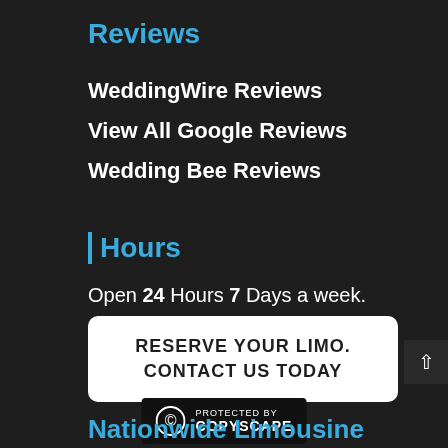Reviews
WeddingWire Reviews
View All Google Reviews
Wedding Bee Reviews
Hours
Open 24 Hours 7 Days a week.
RESERVE YOUR LIMO. CONTACT US TODAY
[Figure (logo): Protected by Copyscape badge with copyright symbol]
Nationwide Limousine